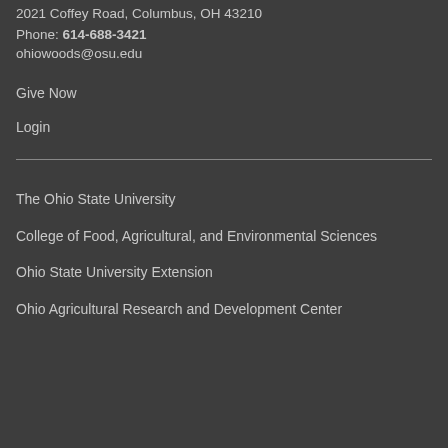2021 Coffey Road, Columbus, OH 43210
Phone: 614-688-3421
ohiowoods@osu.edu
Give Now
Login
The Ohio State University
College of Food, Agricultural, and Environmental Sciences
Ohio State University Extension
Ohio Agricultural Research and Development Center